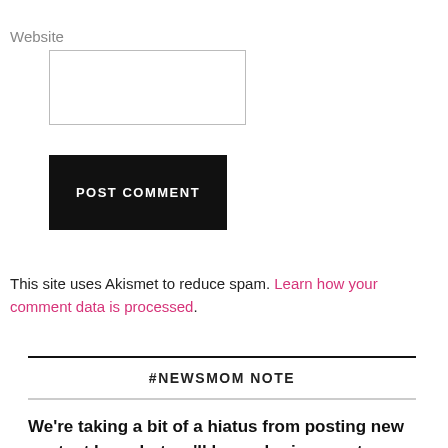Website
[Figure (screenshot): Empty text input box for website URL]
[Figure (screenshot): POST COMMENT button, black background with white uppercase text]
This site uses Akismet to reduce spam. Learn how your comment data is processed.
#NEWSMOM NOTE
We're taking a bit of a hiatus from posting new content here, but we'll keep sharing great